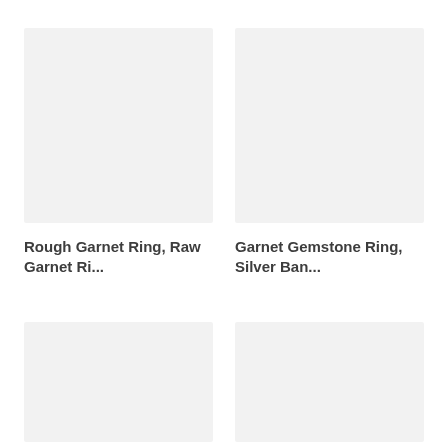[Figure (photo): Product image placeholder - light gray box for Rough Garnet Ring]
[Figure (photo): Product image placeholder - light gray box for Garnet Gemstone Ring]
Rough Garnet Ring, Raw Garnet Ri...
Garnet Gemstone Ring, Silver Ban...
[Figure (photo): Product image placeholder - light gray box, bottom left]
[Figure (photo): Product image placeholder - light gray box, bottom right]